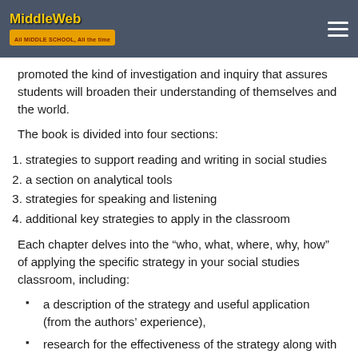MiddleWeb
promoted the kind of investigation and inquiry that assures students will broaden their understanding of themselves and the world.
The book is divided into four sections:
1. strategies to support reading and writing in social studies
2. a section on analytical tools
3. strategies for speaking and listening
4. additional key strategies to apply in the classroom
Each chapter delves into the “who, what, where, why, how” of applying the specific strategy in your social studies classroom, including:
a description of the strategy and useful application (from the authors’ experience),
research for the effectiveness of the strategy along with